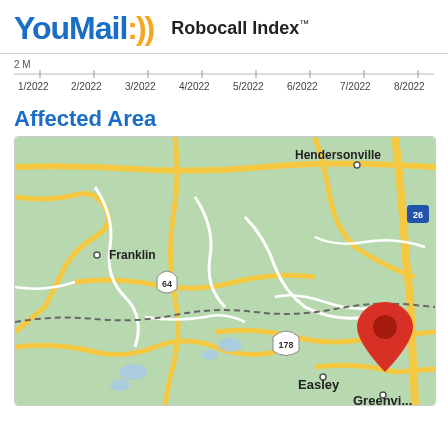YouMail:)) Robocall Index™
[Figure (continuous-plot): Partial x-axis showing date labels from 1/2022 to 8/2022 with a '2 M' y-axis label visible at top-left, representing a time-series line chart of robocall volume]
Affected Area
[Figure (map): Google Maps view showing parts of North Carolina and South Carolina including Franklin, Hendersonville, Easley, and Greenville. A red location pin marker is placed near Greenville, SC. Route markers for 64, 178, and 26 are visible. State border shown as dashed line.]